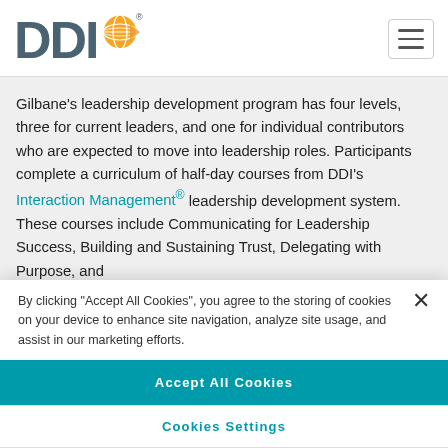[Figure (logo): DDI logo with orange globe graphic and dark blue-gray DDI text]
Gilbane's leadership development program has four levels, three for current leaders, and one for individual contributors who are expected to move into leadership roles. Participants complete a curriculum of half-day courses from DDI's Interaction Management® leadership development system. These courses include Communicating for Leadership Success, Building and Sustaining Trust, Delegating with Purpose, and
By clicking "Accept All Cookies", you agree to the storing of cookies on your device to enhance site navigation, analyze site usage, and assist in our marketing efforts.
Accept All Cookies
Cookies Settings